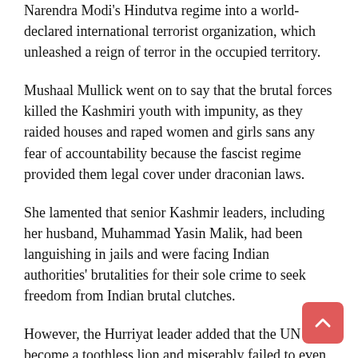Narendra Modi's Hindutva regime into a world-declared international terrorist organization, which unleashed a reign of terror in the occupied territory.
Mushaal Mullick went on to say that the brutal forces killed the Kashmiri youth with impunity, as they raided houses and raped women and girls sans any fear of accountability because the fascist regime provided them legal cover under draconian laws.
She lamented that senior Kashmir leaders, including her husband, Muhammad Yasin Malik, had been languishing in jails and were facing Indian authorities' brutalities for their sole crime to seek freedom from Indian brutal clutches.
However, the Hurriyat leader added that the UN had become a toothless lion and miserably failed to even implement its own passed resolutions regarding the Kashmir settlement.
The Chairperson urged the world powers to take some bold steps to bring the Hindutva regime to its knee in order to sort